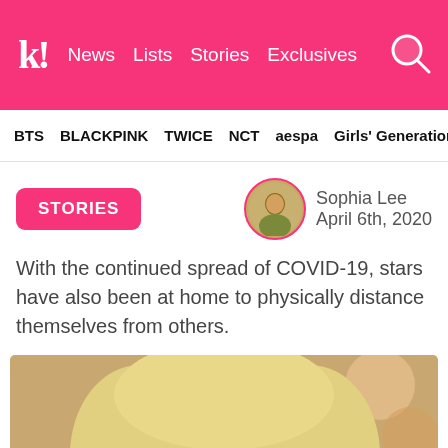k! News Lists Stories Exclusives
BTS BLACKPINK TWICE NCT aespa Girls' Generation
STORIES
Sophia Lee
April 6th, 2020
With the continued spread of COVID-19, stars have also been at home to physically distance themselves from others.
[Figure (photo): Photo of a blonde K-pop female artist looking at the camera, with a warm wooden wall background and an orange element in the lower left]